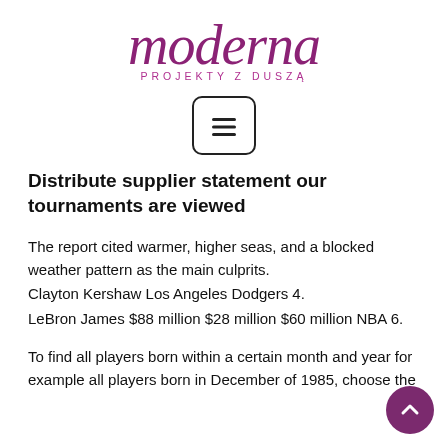[Figure (logo): Moderna logo — large purple cursive 'moderna' text with 'PROJEKTY Z DUSZĄ' in small purple caps below]
[Figure (other): Hamburger menu icon inside a rounded rectangle border]
Distribute supplier statement our tournaments are viewed
The report cited warmer, higher seas, and a blocked weather pattern as the main culprits.
Clayton Kershaw Los Angeles Dodgers 4.
LeBron James $88 million $28 million $60 million NBA 6.
To find all players born within a certain month and year for example all players born in December of 1985, choose the